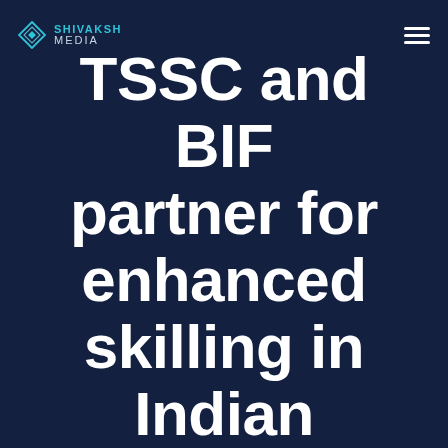SHIVAKSH MEDIA
TSSC and BIF partner for enhanced skilling in Indian